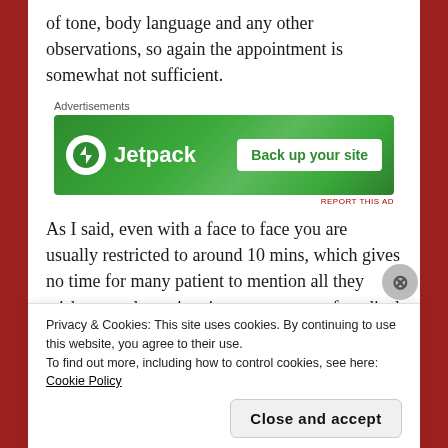of tone, body language and any other observations, so again the appointment is somewhat not sufficient.
[Figure (screenshot): Jetpack advertisement banner with 'Back up your site' button on green background]
As I said, even with a face to face you are usually restricted to around 10 mins, which gives no time for many patient to mention all they wish too and a patient is not an expert of medical issues only on their body and how they are feeling, much of which
Privacy & Cookies: This site uses cookies. By continuing to use this website, you agree to their use.
To find out more, including how to control cookies, see here: Cookie Policy
Close and accept